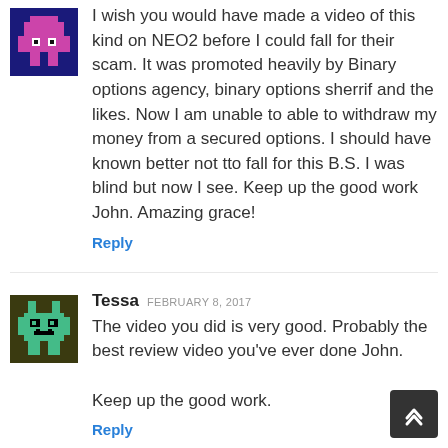[Figure (illustration): Pixel art avatar with pink and blue colors on dark blue background]
I wish you would have made a video of this kind on NEO2 before I could fall for their scam. It was promoted heavily by Binary options agency, binary options sherrif and the likes. Now I am unable to able to withdraw my money from a secured options. I should have known better not tto fall for this B.S. I was blind but now I see. Keep up the good work John. Amazing grace!
Reply
[Figure (illustration): Pixel art avatar with green bunny/robot character on dark olive background]
Tessa FEBRUARY 8, 2017
The video you did is very good. Probably the best review video you've ever done John.

Keep up the good work.
Reply